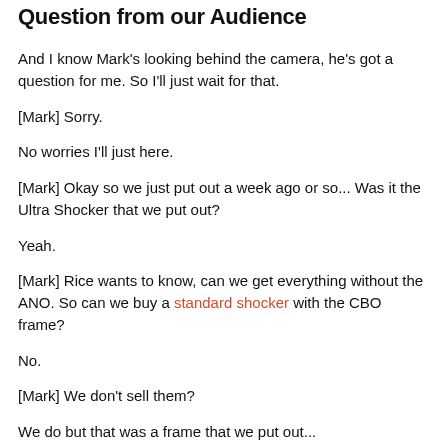Question from our Audience
And I know Mark's looking behind the camera, he's got a question for me. So I'll just wait for that.
[Mark] Sorry.
No worries I'll just here.
[Mark] Okay so we just put out a week ago or so... Was it the Ultra Shocker that we put out?
Yeah.
[Mark] Rice wants to know, can we get everything without the ANO. So can we buy a standard shocker with the CBO frame?
No.
[Mark] We don't sell them?
We do but that was a frame that we put out...